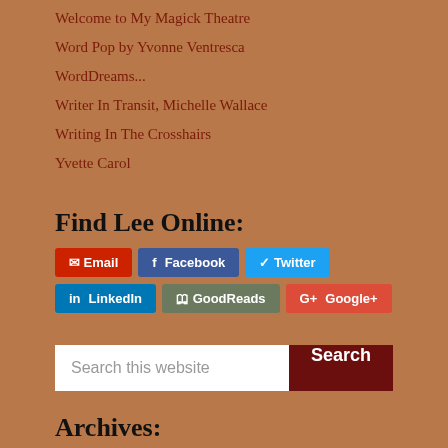Welcome to My Magick Theatre
Word Pop by Yvonne Ventresca
WordDreams...
Writer In Transit, Michelle Wallace
Writing In The Crosshairs
Yvette Carol
Find Lee Online:
Email  Facebook  Twitter  LinkedIn  GoodReads  Google+
Search this website  Search
Archives: